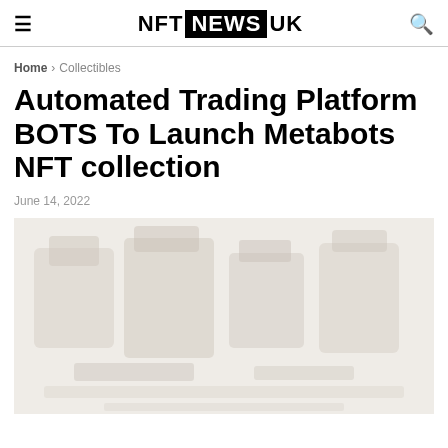NFT NEWS UK
Home > Collectibles
Automated Trading Platform BOTS To Launch Metabots NFT collection
June 14, 2022
[Figure (photo): Blurred/faded image related to Metabots NFT collection, showing robot-like figures in muted tones]